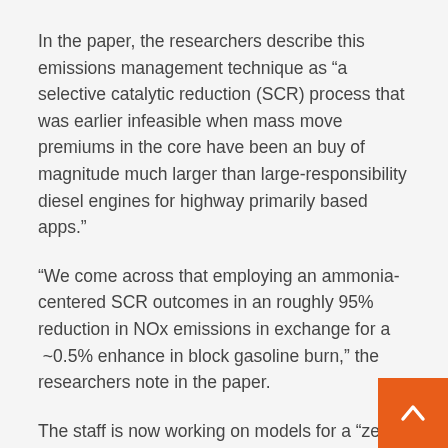In the paper, the researchers describe this emissions management technique as “a selective catalytic reduction (SCR) process that was earlier infeasible when mass move premiums in the core have been an buy of magnitude much larger than large-responsibility diesel engines for highway primarily based apps.”
“We come across that employing an ammonia-centered SCR outcomes in an roughly 95% reduction in NOx emissions in exchange for a ∼0.5% enhance in block gasoline burn,” the researchers note in the paper.
The staff is now working on models for a “zero-impact” plane that flies with no emitting NOx and other chemicals like weather-altering carbon dioxide.